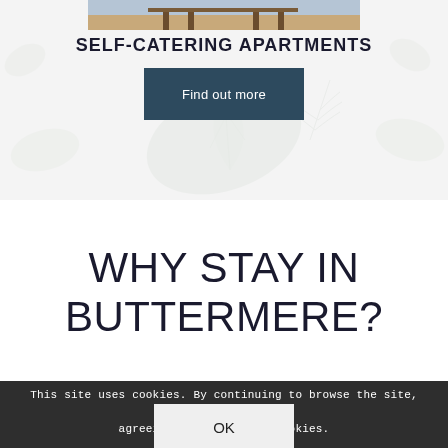[Figure (photo): Photo of interior room with wooden chairs and table, showing a self-catering apartment interior, partially cropped at top]
SELF-CATERING APARTMENTS
Find out more
WHY STAY IN BUTTERMERE?
This site uses cookies. By continuing to browse the site, you are agreeing to our use of cookies.
Food & Drink
OK
Whether it's a quick snack, a one night, or a media...